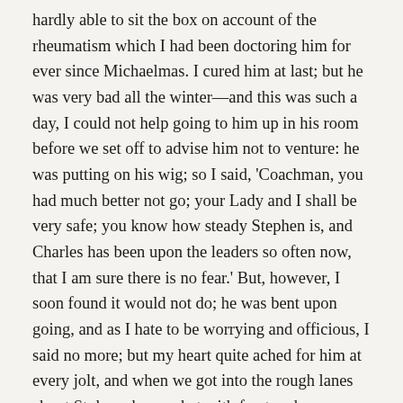hardly able to sit the box on account of the rheumatism which I had been doctoring him for ever since Michaelmas. I cured him at last; but he was very bad all the winter—and this was such a day, I could not help going to him up in his room before we set off to advise him not to venture: he was putting on his wig; so I said, 'Coachman, you had much better not go; your Lady and I shall be very safe; you know how steady Stephen is, and Charles has been upon the leaders so often now, that I am sure there is no fear.' But, however, I soon found it would not do; he was bent upon going, and as I hate to be worrying and officious, I said no more; but my heart quite ached for him at every jolt, and when we got into the rough lanes about Stoke, where, what with frost and snow upon beds of stones, it was worse than anything you can imagine, I was quite in an agony about him. And then the poor horses too! To see them straining away! You know how I always feel for the horses. And when we got to the bottom of Sandcroft Hill, what do you think I did? You will laugh at me; but I got out and walked up. I did indeed. It might not be saving them much, but it was something, and I could not bear to sit at my ease and be dragged up at the expense of those noble